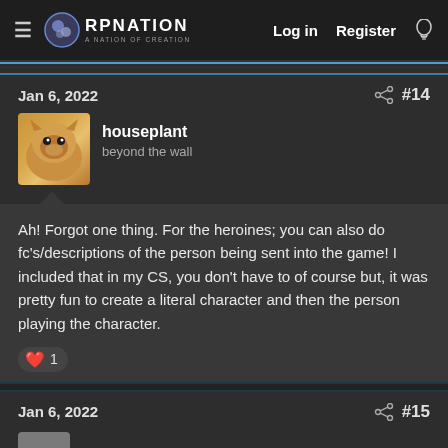RPNation — Log in | Register
Jan 6, 2022  #14
houseplant
beyond the wall
Ah! Forgot one thing. For the heroines; you can also do fc's/descriptions of the person being sent into the game! I included that in my CS, you don't have to of course but, it was pretty fun to create a literal character and then the person playing the character.
❤ 1
Jan 6, 2022  #15